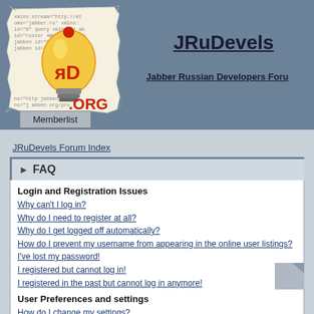[Figure (logo): JRuDevels.org logo: a light bulb with 'яD' symbol on a torn paper background with XML/Jabber code text, and '.ORG' text in red]
JRuDevels
Jabber Russian Developers Forum
Memberlist
JRuDevels Forum Index
➤ FAQ
Login and Registration Issues
Why can't I log in?
Why do I need to register at all?
Why do I get logged off automatically?
How do I prevent my username from appearing in the online user listings?
I've lost my password!
I registered but cannot log in!
I registered in the past but cannot log in anymore!
User Preferences and settings
How do I change my settings?
The times are not correct!